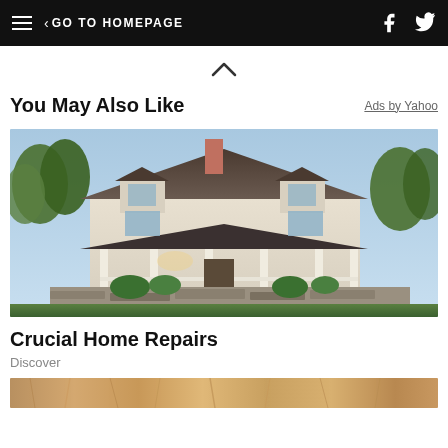GO TO HOMEPAGE
[Figure (photo): Large two-story white colonial house with covered front porch, columns, dormers, brick chimney, and landscaped yard with stone retaining wall]
You May Also Like
Ads by Yahoo
Crucial Home Repairs
Discover
[Figure (photo): Bottom strip showing close-up of wood grain texture in golden brown tones]